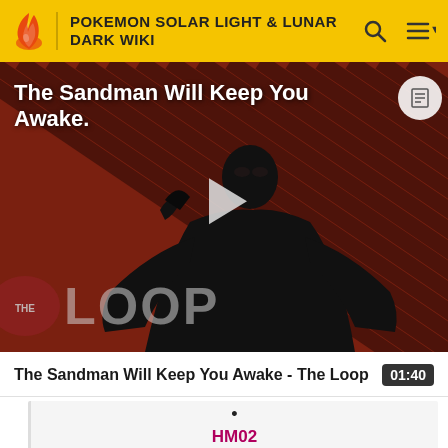POKEMON SOLAR LIGHT & LUNAR DARK WIKI
[Figure (screenshot): Video thumbnail for 'The Sandman Will Keep You Awake - The Loop' showing a pale figure in black cloak against a striped red-brown background with 'THE LOOP' text overlay and a play button in the center]
The Sandman Will Keep You Awake - The Loop   01:40
HM02
HM03
HM04